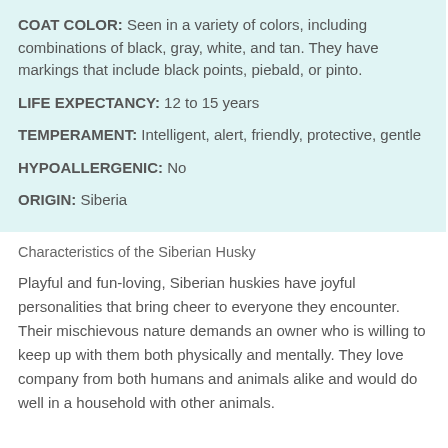COAT COLOR: Seen in a variety of colors, including combinations of black, gray, white, and tan. They have markings that include black points, piebald, or pinto.
LIFE EXPECTANCY: 12 to 15 years
TEMPERAMENT: Intelligent, alert, friendly, protective, gentle
HYPOALLERGENIC: No
ORIGIN: Siberia
Characteristics of the Siberian Husky
Playful and fun-loving, Siberian huskies have joyful personalities that bring cheer to everyone they encounter. Their mischievous nature demands an owner who is willing to keep up with them both physically and mentally. They love company from both humans and animals alike and would do well in a household with other animals.